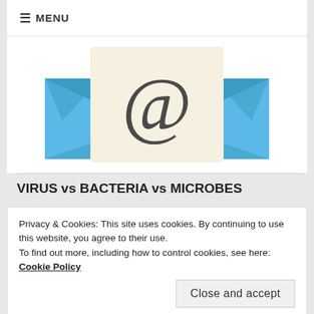≡ MENU
[Figure (illustration): Email envelope icon with @ symbol — blue open envelope containing a beige card with a large dark @ symbol]
VIRUS vs BACTERIA vs MICROBES
Privacy & Cookies: This site uses cookies. By continuing to use this website, you agree to their use.
To find out more, including how to control cookies, see here: Cookie Policy
Close and accept
[Figure (photo): Microscopic image of viruses and bacteria — teal/blue spherical virus particles and orange elongated bacteria on a purple background]